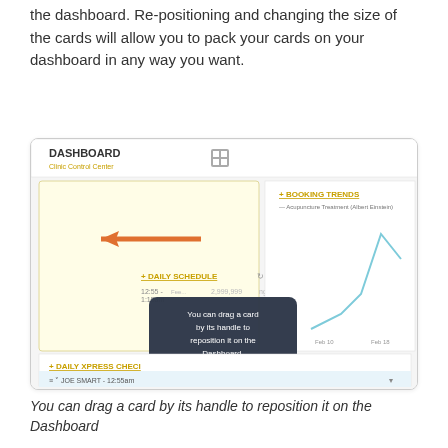the dashboard.  Re-positioning and changing the size of the cards will allow you to pack your cards on your dashboard in any way you want.
[Figure (screenshot): Screenshot of a dashboard UI showing cards including 'DAILY SCHEDULE' and 'BOOKING TRENDS'. An orange arrow points left at a card. A dark tooltip reads: 'You can drag a card by its handle to reposition it on the Dashboard.' A line chart is visible on the right. Below is a 'DAILY XPRESS CHECI' card with 'JOE SMART - 12:55am' row.]
You can drag a card by its handle to reposition it on the Dashboard